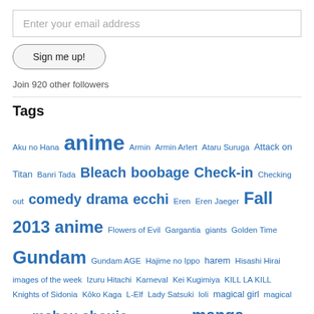Enter your email address
Sign me up!
Join 920 other followers
Tags
Aku no Hana anime Armin Armin Arlert Ataru Suruga Attack on Titan Banri Tada Bleach boobage Check-in Checking out comedy drama ecchi Eren Eren Jaeger Fall 2013 anime Flowers of Evil Gargantia giants Golden Time Gundam Gundam AGE Hajime no Ippo harem Hisashi Hirai images of the week Izuru Hitachi Karneval Kei Kugimiya KILL LA KILL Knights of Sidonia Kōko Kaga L-Elf Lady Satsuki loli magical girl magical girls mahou shoujo Majestic Prince manga mecha Mikasa Mikasa Ackermann Mobile Suit Gundam AGE Naruto